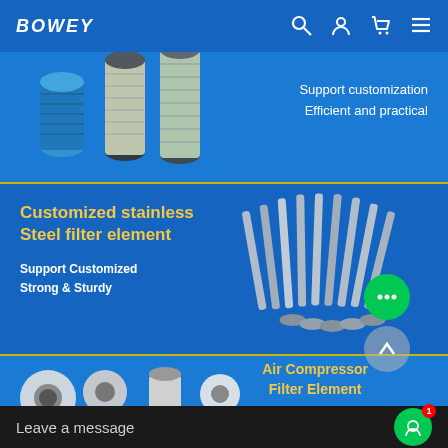BOWEY
[Figure (photo): Air filter cartridges/cylinders product photo on blue background with text: Support customization, Efficient and practical]
[Figure (photo): Customized stainless steel filter element product photo. Title: Customized stainless Steel filter element. Subtext: Support Customized, Strong & Sturdy]
[Figure (photo): Air Compressor Filter Element product photo with various filter separators on blue background]
Leave a message